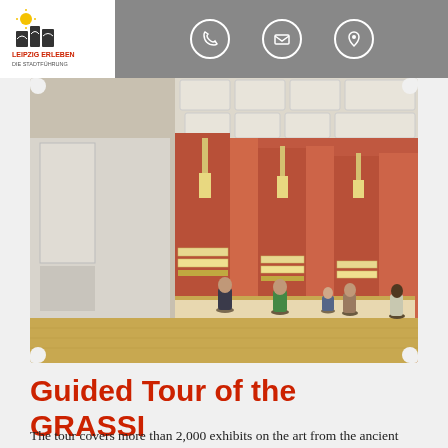Leipzig Erleben – Die Stadtführung (logo) | Phone | Email | Location icons
[Figure (photo): Interior of the GRASSI Museum of Applied Arts showing a large exhibition hall with terracotta-red walls, pendant light fixtures, display cases along the walls, skylights in the ceiling, and several visitors viewing exhibits.]
Guided Tour of the GRASSI Museum of Applied Arts
The tour covers more than 2,000 exhibits on the art from the ancient world to the historicism period in 30 show rooms (about